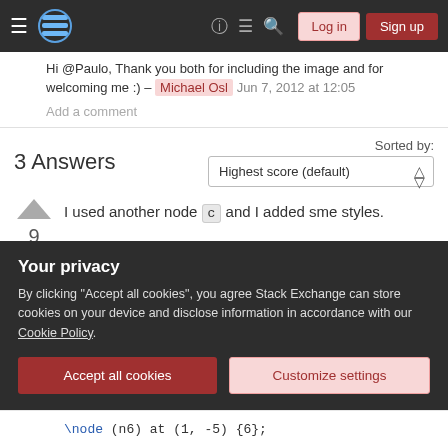Stack Exchange navigation bar with Log in and Sign up buttons
Hi @Paulo, Thank you both for including the image and for welcoming me :) – Michael Osl Jun 7, 2012 at 12:05
Add a comment
3 Answers
Sorted by: Highest score (default)
I used another node (c) and I added sme styles.
\documentclass[11pt]{scrartcl}
Your privacy
By clicking "Accept all cookies", you agree Stack Exchange can store cookies on your device and disclose information in accordance with our Cookie Policy.
Accept all cookies   Customize settings
\node (n6) at (1, -5) {6};